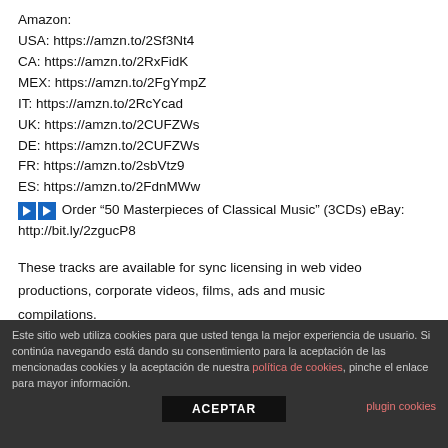Amazon:
USA: https://amzn.to/2Sf3Nt4
CA: https://amzn.to/2RxFidK
MEX: https://amzn.to/2FgYmpZ
IT: https://amzn.to/2RcYcad
UK: https://amzn.to/2CUFZWs
DE: https://amzn.to/2CUFZWs
FR: https://amzn.to/2sbVtz9
ES: https://amzn.to/2FdnMWw
▶▶ Order “50 Masterpieces of Classical Music” (3CDs) eBay: http://bit.ly/2zgucP8
These tracks are available for sync licensing in web video productions, corporate videos, films, ads and music compilations.
For further information and licensing please contact
Este sitio web utiliza cookies para que usted tenga la mejor experiencia de usuario. Si continúa navegando está dando su consentimiento para la aceptación de las mencionadas cookies y la aceptación de nuestra política de cookies, pinche el enlace para mayor información.
plugin cookies
ACEPTAR